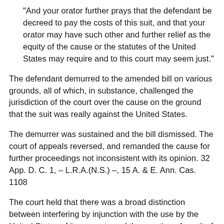"And your orator further prays that the defendant be decreed to pay the costs of this suit, and that your orator may have such other and further relief as the equity of the cause or the statutes of the United States may require and to this court may seem just."
The defendant demurred to the amended bill on various grounds, all of which, in substance, challenged the jurisdiction of the court over the cause on the ground that the suit was really against the United States.
The demurrer was sustained and the bill dismissed. The court of appeals reversed, and remanded the cause for further proceedings not inconsistent with its opinion. 32 App. D. C. 1, – L.R.A.(N.S.) –, 15 A. & E. Ann. Cas. 1108
The court held that there was a broad distinction between interfering by injunction with the use by the United States of its property and the granting of a writ of injunction for the